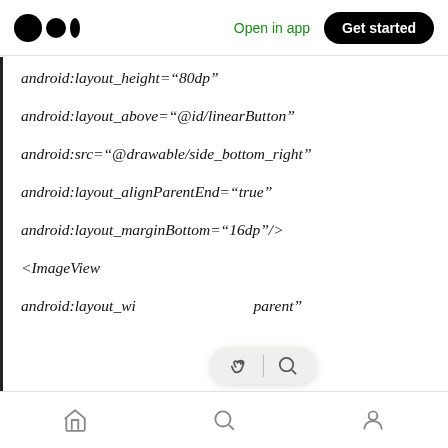Medium app header with logo, Open in app, Get started
android:layout_height="80dp"
android:layout_above="@id/linearButton"
android:src="@drawable/side_bottom_right"
android:layout_alignParentEnd="true"
android:layout_marginBottom="16dp"/>
<ImageView
android:layout_wi          parent"
Bottom navigation bar with home, search, profile icons